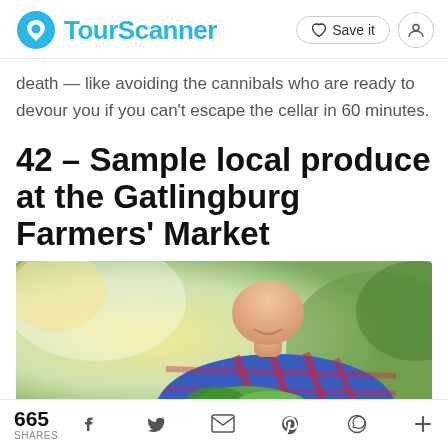TourScanner
death — like avoiding the cannibals who are ready to devour you if you can't escape the cellar in 60 minutes.
42 – Sample local produce at the Gatlingburg Farmers' Market
[Figure (photo): Woman in a blue and red plaid shirt smiling outdoors, holding fresh green produce, with a blurred warm background]
665 SHARES with social share icons: Facebook, Twitter, Email, Pinterest, WhatsApp, More